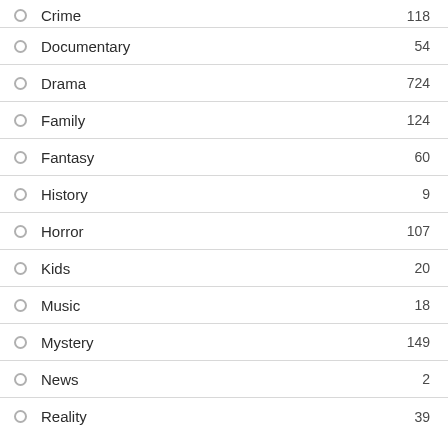Crime — 118
Documentary — 54
Drama — 724
Family — 124
Fantasy — 60
History — 9
Horror — 107
Kids — 20
Music — 18
Mystery — 149
News — 2
Reality — 39